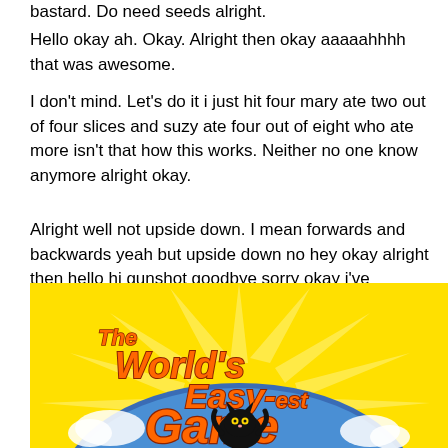bastard. Do need seeds alright.
Hello okay ah. Okay. Alright then okay aaaaahhhh that was awesome.
I don't mind. Let's do it i just hit four mary ate two out of four slices and suzy ate four out of eight who ate more isn't that how this works. Neither no one know anymore alright okay.
Alright well not upside down. I mean forwards and backwards yeah but upside down no hey okay alright then hello hi gunshot goodbye sorry okay i've murdered yay it's ohoh okay oh okay quietly fuck.
[Figure (illustration): Game logo image showing 'The World's Easy-est Game' text in large orange letters with a black cartoon cat, against a yellow and blue background with sunburst rays.]